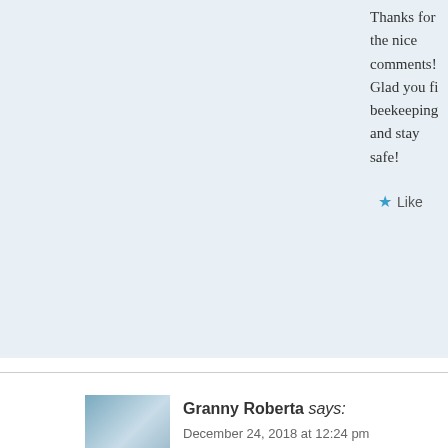Thanks for the nice comments! Glad you fi beekeeping and stay safe!
Like
Reply
Granny Roberta says:
December 24, 2018 at 12:24 pm
If someone says they're allergic to bees, I always ask “ know, I don’t believe they’re allergic. If they were reall allergist, who would have tested them for the likely sus by groups (wasps, hornets, bees) and found out what, e
The picturesque facial swelling in the photo could easil near the eyes. Fainting, even without swelling, is more